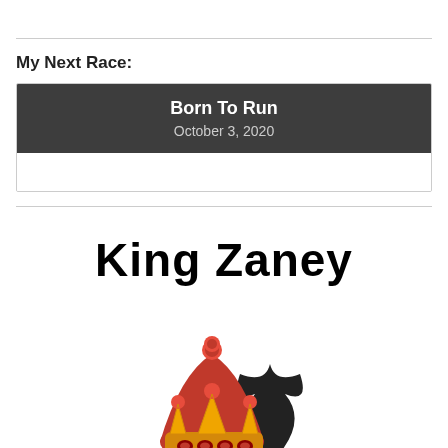My Next Race:
| Born To Run | October 3, 2020 |
| --- | --- |
King Zaney
[Figure (illustration): King Zaney logo showing a jester/joker character wearing a golden crown with red gems, with a red jester hat underneath, sitting on top of a black spade symbol. A small red apple is visible at the bottom left.]